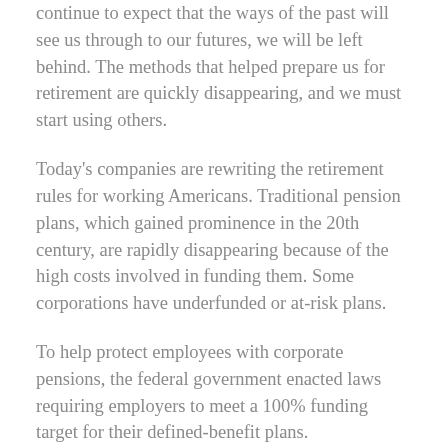continue to expect that the ways of the past will see us through to our futures, we will be left behind. The methods that helped prepare us for retirement are quickly disappearing, and we must start using others.
Today's companies are rewriting the retirement rules for working Americans. Traditional pension plans, which gained prominence in the 20th century, are rapidly disappearing because of the high costs involved in funding them. Some corporations have underfunded or at-risk plans.
To help protect employees with corporate pensions, the federal government enacted laws requiring employers to meet a 100% funding target for their defined-benefit plans.